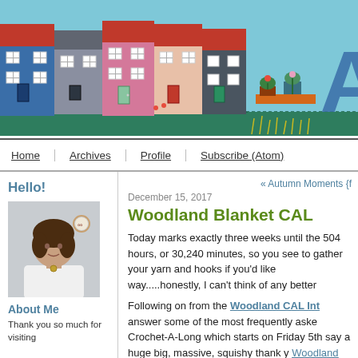[Figure (illustration): Colorful illustrated banner showing a row of stylized houses in blue, gray, pink, red tones on a light blue sky background, with planters and large letter 'A' visible on the right side.]
Home | Archives | Profile | Subscribe (Atom)
Hello!
[Figure (photo): Profile photo of a woman with shoulder-length brown hair, wearing a white top and a necklace, with a small embroidered hoop on the wall behind her.]
About Me
Thank you so much for visiting
« Autumn Moments {f
December 15, 2017
Woodland Blanket CAL
Today marks exactly three weeks until the 504 hours, or 30,240 minutes, so you see to gather your yarn and hooks if you'd like way.....honestly, I can't think of any better
Following on from the Woodland CAL Int answer some of the most frequently aske Crochet-A-Long which starts on Friday 5th say a huge big, massive, squishy thank y Woodland yarn pack, I really hope you e patiently for the CAL to begin. I am so so